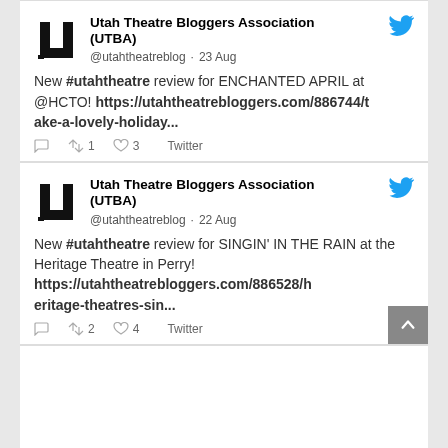Utah Theatre Bloggers Association (UTBA) @utahtheatreblog · 23 Aug
New #utahtheatre review for ENCHANTED APRIL at @HCTO! https://utahtheatrebloggers.com/886744/take-a-lovely-holiday...
1 retweet 3 likes Twitter
Utah Theatre Bloggers Association (UTBA) @utahtheatreblog · 22 Aug
New #utahtheatre review for SINGIN' IN THE RAIN at the Heritage Theatre in Perry! https://utahtheatrebloggers.com/886528/heritage-theatres-sin...
2 retweets 4 likes Twitter